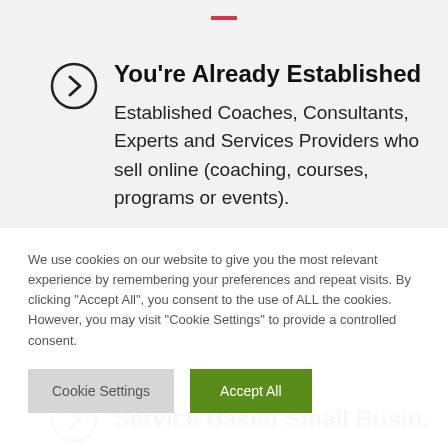[Figure (other): Red horizontal dash/line decorative element at top center]
You're Already Established
Established Coaches, Consultants, Experts and Services Providers who sell online (coaching, courses, programs or events).
[Figure (other): Partially visible circle icon with chevron/arrow for next section]
Service Based Small Business
We use cookies on our website to give you the most relevant experience by remembering your preferences and repeat visits. By clicking "Accept All", you consent to the use of ALL the cookies. However, you may visit "Cookie Settings" to provide a controlled consent.
Cookie Settings
Accept All